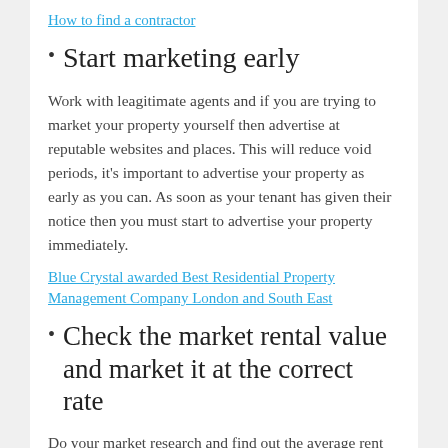How to find a contractor
Start marketing early
Work with leagitimate agents and if you are trying to market your property yourself then advertise at reputable websites and places. This will reduce void periods, it's important to advertise your property as early as you can. As soon as your tenant has given their notice then you must start to advertise your property immediately.
Blue Crystal awarded Best Residential Property Management Company London and South East
Check the market rental value and market it at the correct rate
Do your market research and find out the average rent values for the area. Check how your property compares to the area's average, charge a fair rent.